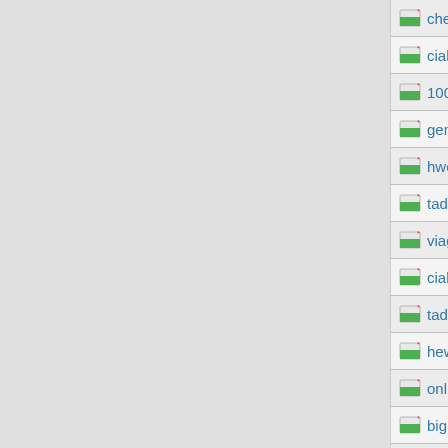cheap cialis xssdjffmjSkencygfc
cialis online pharmacy znsjclishjp
100mg viagra fjmhaOrbicefxa
generic viagra 100mg nndhallestecco
hwerwwwFlorsdlc
tadalafil dosage xmgfmjSkencynfo
viagra pills jtaOrbiceaol
cialis cost mjsbjBrushqp
tadalafil 20 mg znhsjclishhq
hewgfFlorsryd
online casino kostenlos mncjBrushae
big fish casino slots jthOrbicebow
world class casino slots jwsjclishes